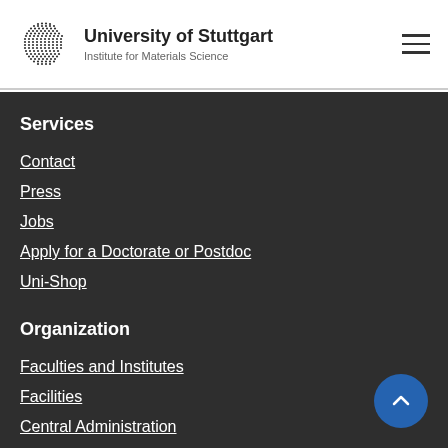University of Stuttgart — Institute for Materials Science
Services
Contact
Press
Jobs
Apply for a Doctorate or Postdoc
Uni-Shop
Organization
Faculties and Institutes
Facilities
Central Administration